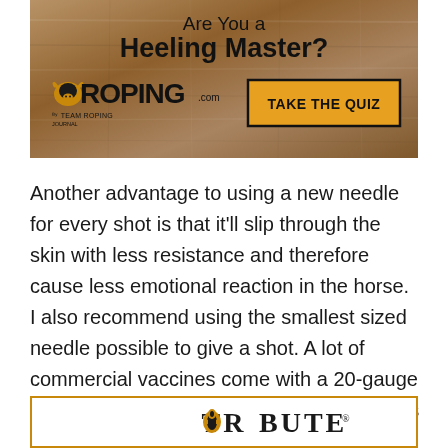[Figure (illustration): Advertisement banner for Roping.com with sandy/wood texture background. Text reads 'Are You a Heeling Master?' with Roping.com logo featuring a bull icon and a gold 'TAKE THE QUIZ' button. Subtitle reads 'by TEAM ROPING'.]
Another advantage to using a new needle for every shot is that it’ll slip through the skin with less resistance and therefore cause less emotional reaction in the horse. I also recommend using the smallest sized needle possible to give a shot. A lot of commercial vaccines come with a 20-gauge needle. I prefer a 22-gauge needle, which is smaller in diameter.
[Figure (logo): TRIBUTE logo in ornate serif font with a golden decorative icon in the center letter, bordered by a gold rectangle.]